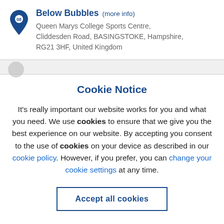08 Below Bubbles (more info) — Queen Marys College Sports Centre, Cliddesden Road, BASINGSTOKE, Hampshire, RG21 3HF, United Kingdom
Cookie Notice
It’s really important our website works for you and what you need. We use cookies to ensure that we give you the best experience on our website. By accepting you consent to the use of cookies on your device as described in our cookie policy. However, if you prefer, you can change your cookie settings at any time.
Accept all cookies